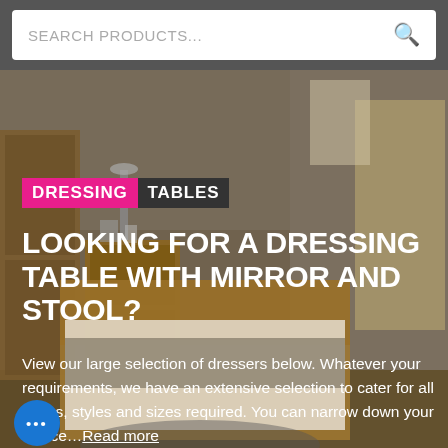SEARCH PRODUCTS...
DRESSING TABLES
LOOKING FOR A DRESSING TABLE WITH MIRROR AND STOOL?
View our large selection of dressers below. Whatever your requirements, we have an extensive selection to cater for all tastes, styles and sizes required. You can narrow down your choice… Read more
[Figure (photo): Bedroom scene showing wooden furniture including a bed with white bedding, wooden bedside table and wardrobe in a bright room]